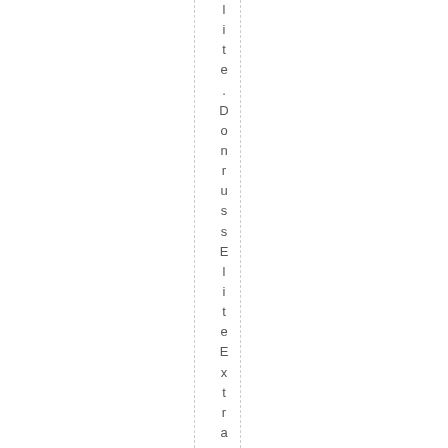l i t e . D o n r u s s E l i t e E x t r a E d i